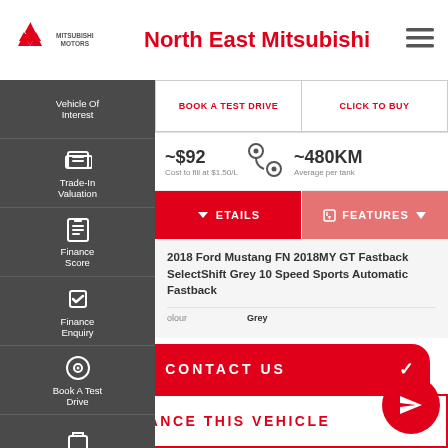[Figure (logo): Mitsubishi Motors diamond logo with MITSUBISHI MOTORS text]
North East Mitsubishi
[Figure (other): Hamburger menu icon (three horizontal lines)]
Vehicle Of Interest
Trade-In Valuation
Finance Score
Finance Enquiry
Book A Test Drive
Click To Buy
BOOK A TEST DRIVE
CLICK TO BUY
~$92
Cost to fill at $1.50/L
~480KM
Average per tank
ETAILS
FEATURES
2018 Ford Mustang FN 2018MY GT Fastback SelectShift Grey 10 Speed Sports Automatic Fastback
olour
Grey
CONTACT US
FINANCE THIS VEHICLE